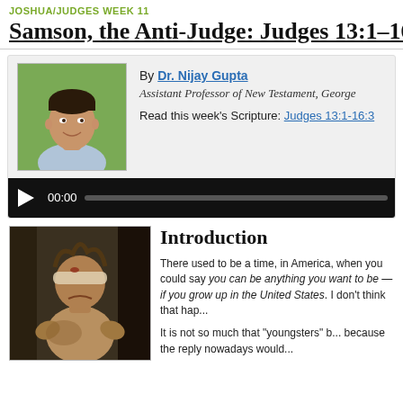JOSHUA/JUDGES WEEK 11
Samson, the Anti-Judge: Judges 13:1–16:31
[Figure (photo): Headshot photo of Dr. Nijay Gupta, a man with short dark hair smiling, outdoors with green foliage background]
By Dr. Nijay Gupta
Assistant Professor of New Testament, George...
Read this week's Scripture: Judges 13:1-16:3...
[Figure (screenshot): Audio player with play button showing 00:00 and a progress bar]
[Figure (photo): Painting of Samson blinded, a muscular figure with bloodied face and bound eyes, dark dramatic background]
Introduction
There used to be a time, in America, when you could say you can be anything you want to be — if you grow up in the United States. I don't think that hap...
It is not so much that "youngsters" b... because the reply nowadays would...